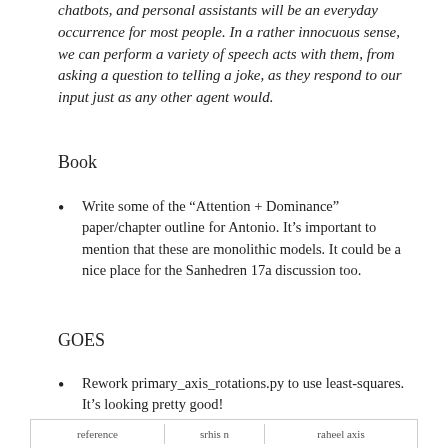chatbots, and personal assistants will be an everyday occurrence for most people. In a rather innocuous sense, we can perform a variety of speech acts with them, from asking a question to telling a joke, as they respond to our input just as any other agent would.
Book
Write some of the “Attention + Dominance” paper/chapter outline for Antonio. It’s important to mention that these are monolithic models. It could be a nice place for the Sanhedren 17a discussion too.
GOES
Rework primary_axis_rotations.py to use least-squares. It’s looking pretty good!
| reference | srhis n | raheel axis |
| --- | --- | --- |